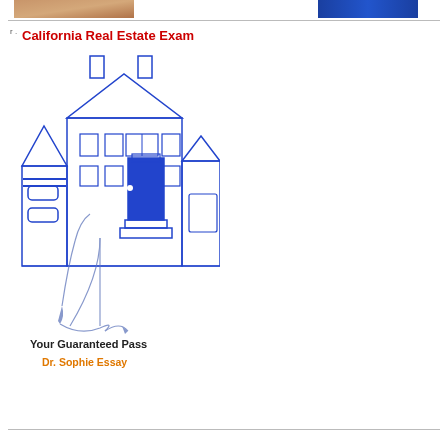[Figure (photo): Cropped top portion of a photo showing a hand or person, warm skin tones, top-left of page]
[Figure (photo): Cropped top portion of a photo showing blue fabric or clothing, top-right of page]
[Figure (illustration): Book cover illustration: line drawing of a house/building in blue ink with a feather pen signature. Title 'California Real Estate Exam' in red, subtitle 'Your Guaranteed Pass' in black bold, author 'Dr. Sophie Essay' in orange.]